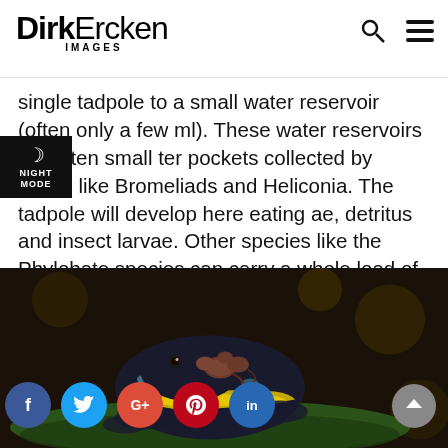DirkErcken IMAGES
single tadpole to a small water reservoir (often only a few ml). These water reservoirs are often small ter pockets collected by plants like Bromeliads and Heliconia. The tadpole will develop here eating ae, detritus and insect larvae. Other species like the Phylobate species can carry a whole load of up to 30 tadpoles to a bigger water recipient.
[Figure (photo): Close-up photograph of a poison dart frog (dark with yellow/blue markings) carrying tadpoles on its back, resting on a green leaf against a dark bokeh background.]